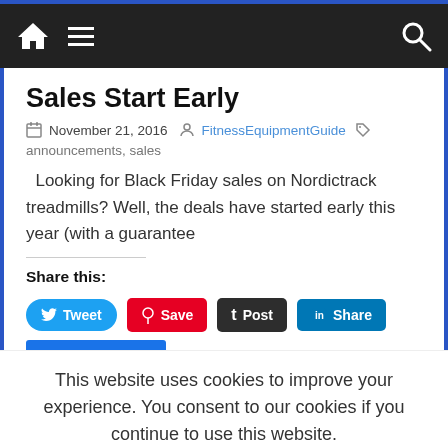Sales Start Early
November 21, 2016  FitnessEquipmentGuide
announcements, sales
Looking for Black Friday sales on Nordictrack treadmills? Well, the deals have started early this year (with a guarantee
Share this:
Tweet  Save  Post  Share
This website uses cookies to improve your experience. You consent to our cookies if you continue to use this website.
OK  Read More